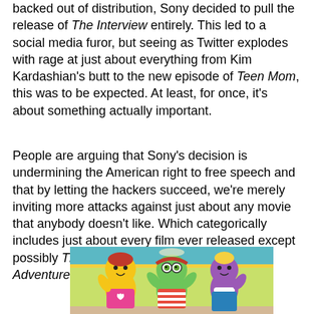backed out of distribution, Sony decided to pull the release of The Interview entirely. This led to a social media furor, but seeing as Twitter explodes with rage at just about everything from Kim Kardashian's butt to the new episode of Teen Mom, this was to be expected. At least, for once, it's about something actually important.
People are arguing that Sony's decision is undermining the American right to free speech and that by letting the hackers succeed, we're merely inviting more attacks against just about any movie that anybody doesn't like. Which categorically includes just about every film ever released except possibly The Oogieloves in the Big Balloon Adventure.
[Figure (photo): Photo of three colorful cartoon mascot characters in costume — a yellow girl character in a pink dress, a green frog-like character in the middle, and a purple character on the right — waving in an indoor colorful venue.]